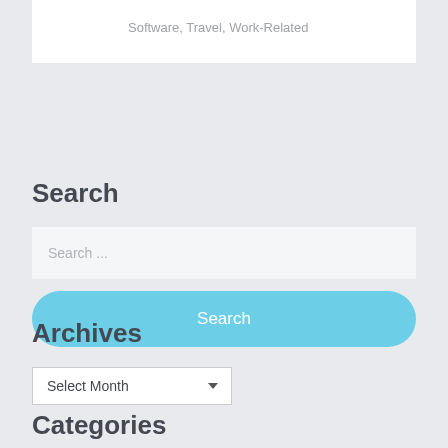Software, Travel, Work-Related
Search
Search ...
Search
Archives
Select Month
Categories